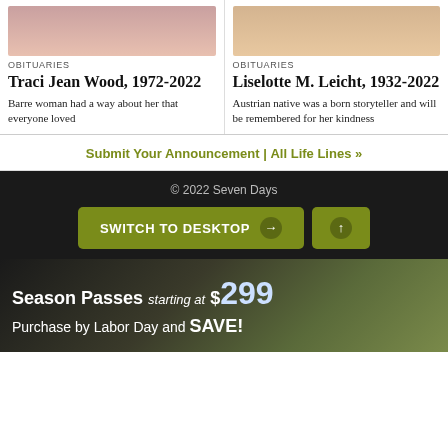[Figure (photo): Portrait photo of Traci Jean Wood]
[Figure (photo): Portrait photo of Liselotte M. Leicht]
OBITUARIES
Traci Jean Wood, 1972-2022
Barre woman had a way about her that everyone loved
OBITUARIES
Liselotte M. Leicht, 1932-2022
Austrian native was a born storyteller and will be remembered for her kindness
Submit Your Announcement | All Life Lines »
© 2022 Seven Days
[Figure (screenshot): SWITCH TO DESKTOP button and up arrow button on dark background]
[Figure (photo): Season Passes starting at $299 — Purchase by Labor Day and SAVE! ski advertisement]